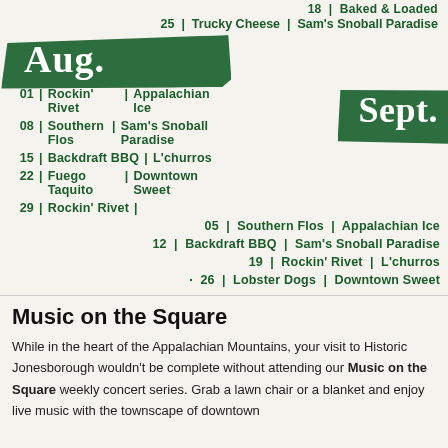18 | Baked & Loaded
25 | Trucky Cheese | Sam's Snoball Paradise
[Figure (illustration): Dark green brushstroke banner with white text reading 'Aug.']
01 | Rockin' Rivet | Appalachian Ice
08 | Southern Flos | Sam's Snoball Paradise
15 | Backdraft BBQ | L'churros
22 | Fuego Taquito | Downtown Sweet
29 | Rockin' Rivet |
[Figure (illustration): Dark green brushstroke banner with white text reading 'Sept.']
05 | Southern Flos | Appalachian Ice
12 | Backdraft BBQ | Sam's Snoball Paradise
19 | Rockin' Rivet | L'churros
26 | Lobster Dogs | Downtown Sweet
Music on the Square
While in the heart of the Appalachian Mountains, your visit to Historic Jonesborough wouldn't be complete without attending our Music on the Square weekly concert series. Grab a lawn chair or a blanket and enjoy live music with the townscape of downtown